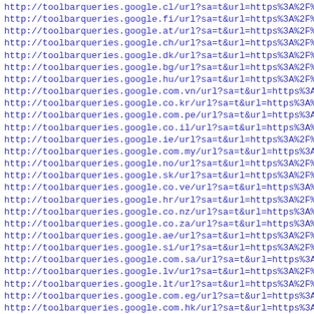http://toolbarqueries.google.cl/url?sa=t&url=https%3A%2F%2F
http://toolbarqueries.google.fi/url?sa=t&url=https%3A%2F%2F
http://toolbarqueries.google.at/url?sa=t&url=https%3A%2F%2F
http://toolbarqueries.google.ch/url?sa=t&url=https%3A%2F%2F
http://toolbarqueries.google.dk/url?sa=t&url=https%3A%2F%2F
http://toolbarqueries.google.bg/url?sa=t&url=https%3A%2F%2F
http://toolbarqueries.google.hu/url?sa=t&url=https%3A%2F%2F
http://toolbarqueries.google.com.vn/url?sa=t&url=https%3A%2
http://toolbarqueries.google.co.kr/url?sa=t&url=https%3A%2F
http://toolbarqueries.google.com.pe/url?sa=t&url=https%3A%2
http://toolbarqueries.google.co.il/url?sa=t&url=https%3A%2F
http://toolbarqueries.google.ie/url?sa=t&url=https%3A%2F%2F
http://toolbarqueries.google.com.my/url?sa=t&url=https%3A%2
http://toolbarqueries.google.no/url?sa=t&url=https%3A%2F%2F
http://toolbarqueries.google.sk/url?sa=t&url=https%3A%2F%2F
http://toolbarqueries.google.co.ve/url?sa=t&url=https%3A%2F
http://toolbarqueries.google.hr/url?sa=t&url=https%3A%2F%2F
http://toolbarqueries.google.co.nz/url?sa=t&url=https%3A%2F
http://toolbarqueries.google.co.za/url?sa=t&url=https%3A%2F
http://toolbarqueries.google.ae/url?sa=t&url=https%3A%2F%2F
http://toolbarqueries.google.si/url?sa=t&url=https%3A%2F%2F
http://toolbarqueries.google.com.sa/url?sa=t&url=https%3A%2
http://toolbarqueries.google.lv/url?sa=t&url=https%3A%2F%2F
http://toolbarqueries.google.lt/url?sa=t&url=https%3A%2F%2F
http://toolbarqueries.google.com.eg/url?sa=t&url=https%3A%2
http://toolbarqueries.google.com.hk/url?sa=t&url=https%3A%2
http://toolbarqueries.google.com.pk/url?sa=t&url=https%3A%2
http://toolbarqueries.google.rs/url?sa=t&url=https%3A%2F%2F
http://toolbarqueries.google.com.pr/url?sa=t&url=https%3A%2